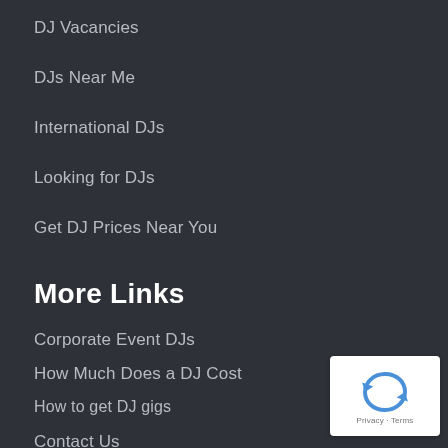DJ Vacancies
DJs Near Me
International DJs
Looking for DJs
Get DJ Prices Near You
More Links
Corporate Event DJs
How Much Does a DJ Cost
How to get DJ gigs
Contact Us
Privacy Policy
Member Login
[Figure (logo): reCAPTCHA logo badge with Privacy - Terms text]